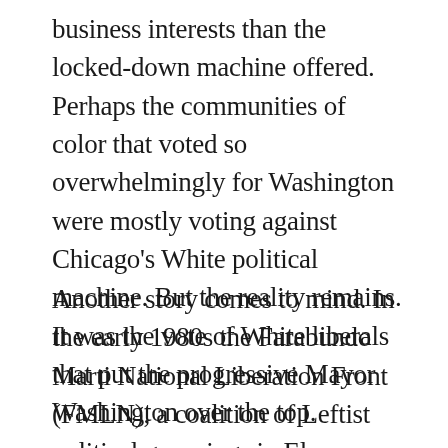business interests than the locked-down machine offered. Perhaps the communities of color that voted so overwhelmingly for Washington were mostly voting against Chicago's White political machine. But the reality remains. It was the vote of White liberals that put the progressive Mayor Washington over the top.
Another story comes to mind. In the early 1980s the Farabundo Marti National Liberation Front (FMLN), a coalition of Leftist political groupings in El Salvador, mounted a credible attempt to overthrow the Salvadoran political establishment.